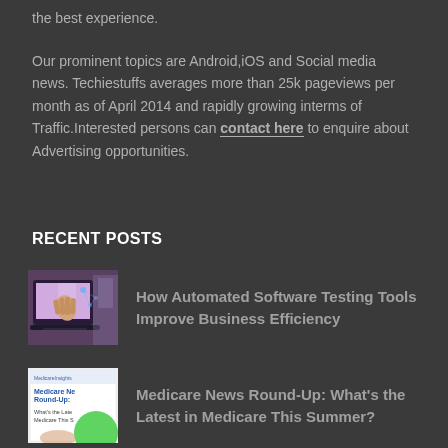the best experience.
Our prominent topics are Android,iOS and Social media news. Techiestuffs averages more than 25k pageviews per month as of April 2014 and rapidly growing interms of Traffic.Interested persons can contact here to enquire about Advertising opportunities.
RECENT POSTS
[Figure (photo): Thumbnail image of a hand interacting with a laptop showing digital network graphics]
How Automated Software Testing Tools Improve Business Efficiency
[Figure (photo): Thumbnail of Medicare News Round-Up article cover with text and green circle]
Medicare News Round-Up: What's the Latest in Medicare This Summer?